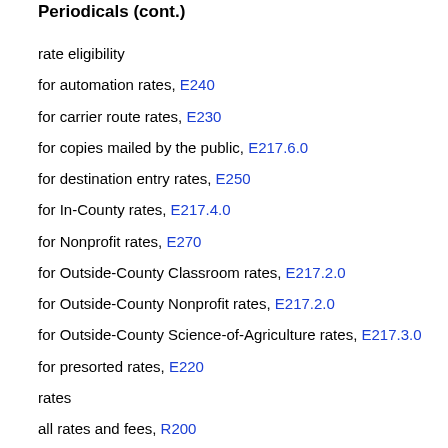Periodicals (cont.)
rate eligibility
for automation rates, E240
for carrier route rates, E230
for copies mailed by the public, E217.6.0
for destination entry rates, E250
for In-County rates, E217.4.0
for Nonprofit rates, E270
for Outside-County Classroom rates, E217.2.0
for Outside-County Nonprofit rates, E217.2.0
for Outside-County Science-of-Agriculture rates, E217.3.0
for presorted rates, E220
rates
all rates and fees, R200